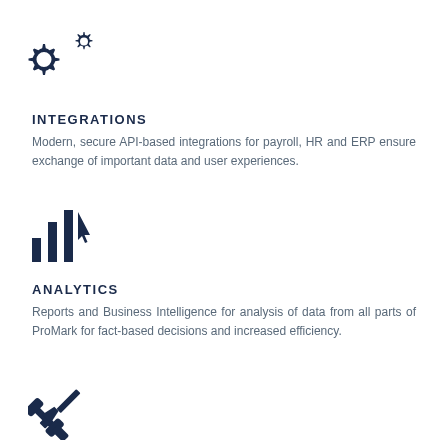[Figure (illustration): Two interlocking gear icons (settings/integrations symbol) in dark navy blue]
INTEGRATIONS
Modern, secure API-based integrations for payroll, HR and ERP ensure exchange of important data and user experiences.
[Figure (illustration): Bar chart icon with a cursor/hand pointer overlay, representing analytics in dark navy blue]
ANALYTICS
Reports and Business Intelligence for analysis of data from all parts of ProMark for fact-based decisions and increased efficiency.
[Figure (illustration): Crossed wrench and screwdriver tools icon in dark navy blue]